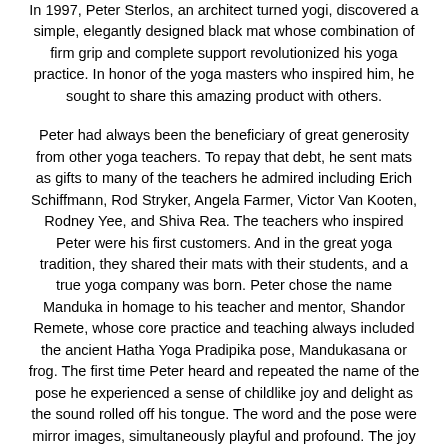In 1997, Peter Sterlos, an architect turned yogi, discovered a simple, elegantly designed black mat whose combination of firm grip and complete support revolutionized his yoga practice. In honor of the yoga masters who inspired him, he sought to share this amazing product with others.
Peter had always been the beneficiary of great generosity from other yoga teachers. To repay that debt, he sent mats as gifts to many of the teachers he admired including Erich Schiffmann, Rod Stryker, Angela Farmer, Victor Van Kooten, Rodney Yee, and Shiva Rea. The teachers who inspired Peter were his first customers. And in the great yoga tradition, they shared their mats with their students, and a true yoga company was born. Peter chose the name Manduka in homage to his teacher and mentor, Shandor Remete, whose core practice and teaching always included the ancient Hatha Yoga Pradipika pose, Mandukasana or frog. The first time Peter heard and repeated the name of the pose he experienced a sense of childlike joy and delight as the sound rolled off his tongue. The word and the pose were mirror images, simultaneously playful and profound. The joy of Manduka is now